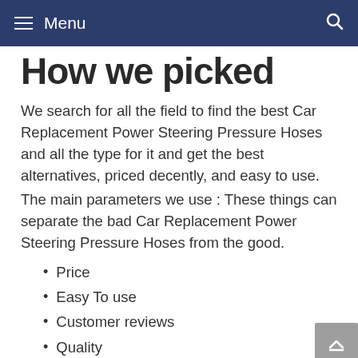Menu
How we picked
We search for all the field to find the best Car Replacement Power Steering Pressure Hoses and all the type for it and get the best alternatives, priced decently, and easy to use.
The main parameters we use : These things can separate the bad Car Replacement Power Steering Pressure Hoses from the good.
Price
Easy To use
Customer reviews
Quality